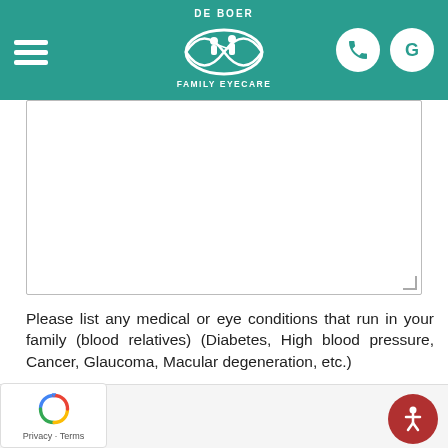[Figure (logo): De Boer Family Eyecare logo — white eye shape with silhouette of optometrist and patient, text 'DE BOER' above and 'FAMILY EYECARE' below, on teal header background]
Please list any medical or eye conditions that run in your family (blood relatives) (Diabetes, High blood pressure, Cancer, Glaucoma, Macular degeneration, etc.)